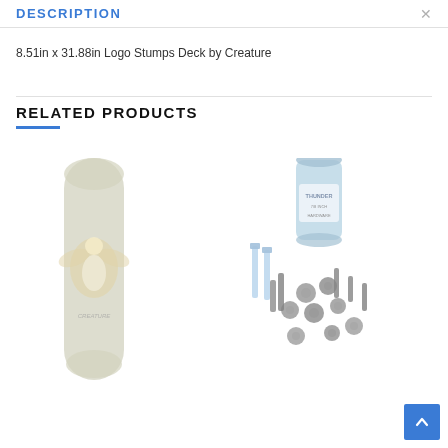DESCRIPTION
8.51in x 31.88in Logo Stumps Deck by Creature
RELATED PRODUCTS
[Figure (photo): Skateboard deck with eagle/bird graphic, olive/gray color, tall oval shape]
[Figure (photo): Skateboard hardware set including bolts, screws and nuts with a cylindrical container labeled Thunder]